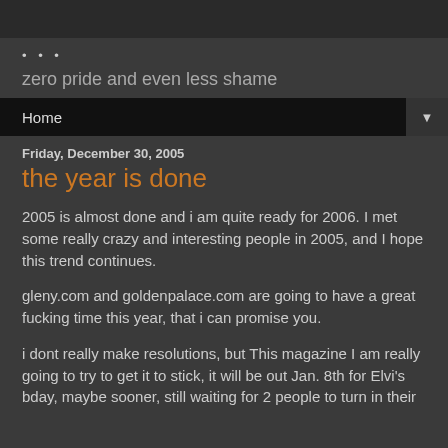...
zero pride and even less shame
Home
Friday, December 30, 2005
the year is done
2005 is almost done and i am quite ready for 2006. I met some really crazy and interesting people in 2005, and I hope this trend continues.
gleny.com and goldenpalace.com are going to have a great fucking time this year, that i can promise you.
i dont really make resolutions, but This magazine I am really going to try to get it to stick, it will be out Jan. 8th for Elvi's bday, maybe sooner, still waiting for 2 people to turn in their